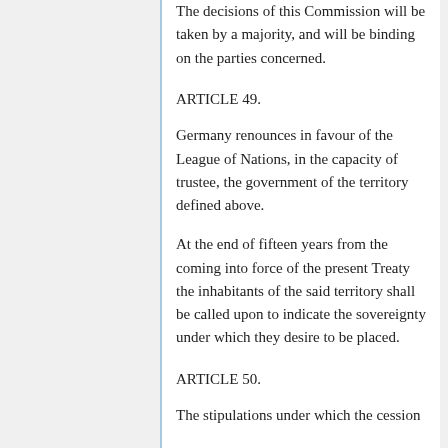The decisions of this Commission will be taken by a majority, and will be binding on the parties concerned.
ARTICLE 49.
Germany renounces in favour of the League of Nations, in the capacity of trustee, the government of the territory defined above.
At the end of fifteen years from the coming into force of the present Treaty the inhabitants of the said territory shall be called upon to indicate the sovereignty under which they desire to be placed.
ARTICLE 50.
The stipulations under which the cession